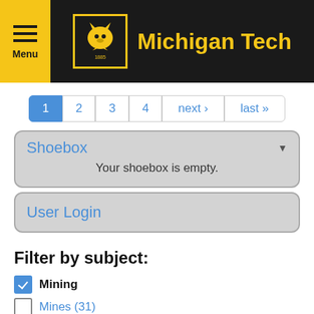Michigan Tech
1 2 3 4 next › last »
Shoebox
Your shoebox is empty.
User Login
Filter by subject:
Mining (checked)
Mines (31)
Manners (31)
Copper (31)
Customs (checked)
Metal (29)
Industry (29)